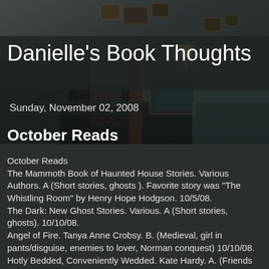[Figure (photo): Dark atmospheric photo of an abandoned or haunted room interior with chairs, a television, framed pictures on walls, and dim lighting with teal/grey tones]
Danielle's Book Thoughts
Sunday, November 02, 2008
October Reads
October Reads
The Mammoth Book of Haunted House Stories. Various Authors. A (Short stories, ghosts ). Favorite story was "The Whistling Room" by Henry Hope Hodgson. 10/5/08.
The Dark: New Ghost Stories. Various. A (Short stories, ghosts). 10/10/08.
Angel of Fire. Tanya Anne Crobsy. B. (Medieval, girl in pants/disguise, enemies to lover, Norman conquest) 10/10/08.
Hotly Bedded, Conveniently Wedded. Kate Hardy. A. (Friends to Lovers, Marriage of Convenience, Problems having a baby, Unrequited, Harlequin Presents). Alex, Isobel. 10/10/08.